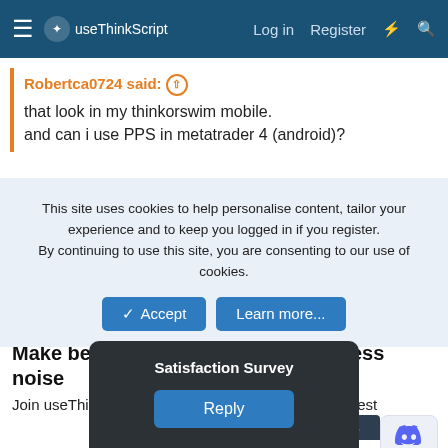useThinkScript — Log in   Register
Robertca0724 said: ↑
that look in my thinkorswim mobile.
and can i use PPS in metatrader 4 (android)?
This site uses cookies to help personalise content, tailor your experience and to keep you logged in if you register. By continuing to use this site, you are consenting to our use of cookies.
✓ Accept   Learn more...
Make better trading decisions with less noise
Join useThinkScript to stay update to date on the latest indicators, trade strategies, and tips for thinkorswim
Satisfaction Survey
Reply